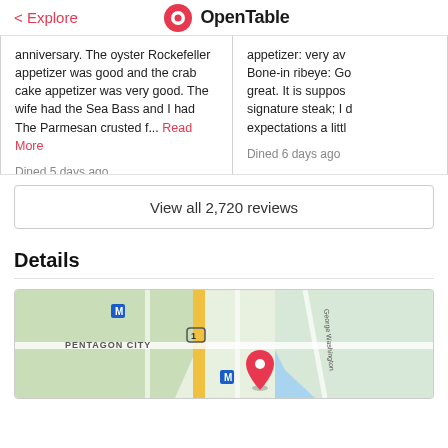< Explore | OpenTable
anniversary. The oyster Rockefeller appetizer was good and the crab cake appetizer was very good. The wife had the Sea Bass and I had The Parmesan crusted f... Read More

Dined 5 days ago
appetizer: very av... Bone-in ribeye: Go... great. It is suppos... signature steak; I ... expectations a littl...

Dined 6 days ago
View all 2,720 reviews
Details
[Figure (map): Map showing Pentagon City area with a red location pin marker, near George Washington Pkwy, with Metro station markers.]